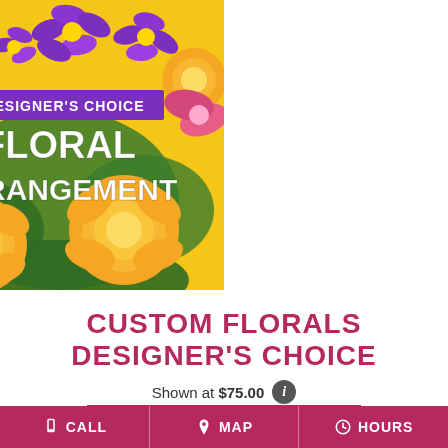[Figure (photo): A floral arrangement photo showing yellow roses and purple flowers on a yellow background, with overlaid text reading 'DESIGNER'S CHOICE FLORAL ARRANGEMENT' in white bold letters and a purple banner for 'DESIGNER'S CHOICE']
CUSTOM FLORALS DESIGNER'S CHOICE
Shown at $75.00
BUY NOW
CALL   MAP   HOURS